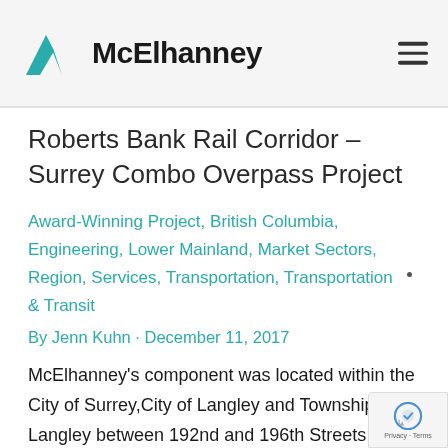McElhanney
Roberts Bank Rail Corridor – Surrey Combo Overpass Project
Award-Winning Project, British Columbia, Engineering, Lower Mainland, Market Sectors, Region, Services, Transportation, Transportation & Transit
By Jenn Kuhn · December 11, 2017
McElhanney's component was located within the City of Surrey,City of Langley and Township of Langley between 192nd and 196th Streets and between the Nicomekl River and 64th